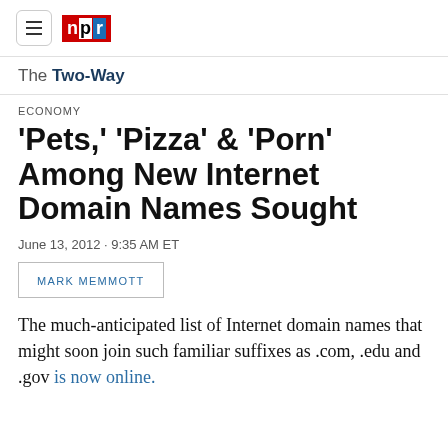NPR — The Two-Way
ECONOMY
'Pets,' 'Pizza' & 'Porn' Among New Internet Domain Names Sought
June 13, 2012 · 9:35 AM ET
MARK MEMMOTT
The much-anticipated list of Internet domain names that might soon join such familiar suffixes as .com, .edu and .gov is now online.